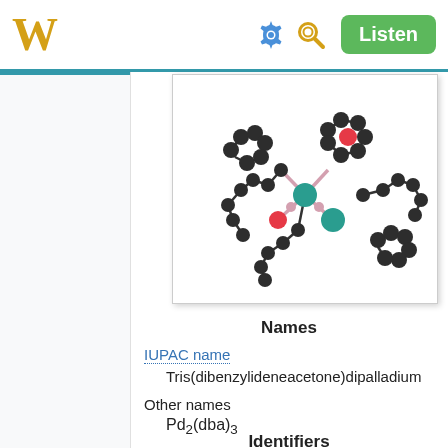W  [gear icon] [search icon]  Listen
[Figure (illustration): 3D ball-and-stick model of Tris(dibenzylideneacetone)dipalladium molecule showing dark grey carbon atoms, teal/cyan palladium atoms, red oxygen atoms, and pink bonds on white background.]
Names
IUPAC name
Tris(dibenzylideneacetone)dipalladium
Other names
Pd₂(dba)₃
Identifiers